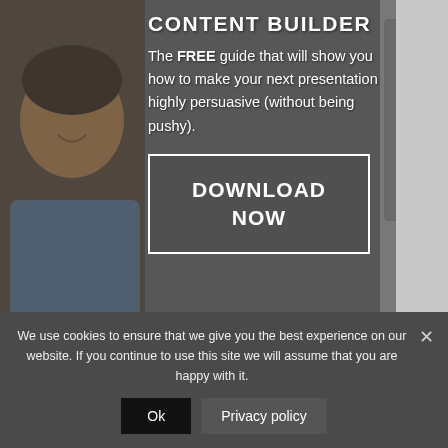[Figure (photo): Background image of a smiling man in a blue denim shirt, with a dark overlay, forming the background of a promotional landing page section.]
CONTENT BUILDER
The FREE guide that will show you how to make your next presentation highly persuasive (without being pushy).
DOWNLOAD NOW
We use cookies to ensure that we give you the best experience on our website. If you continue to use this site we will assume that you are happy with it.
Ok
Privacy policy